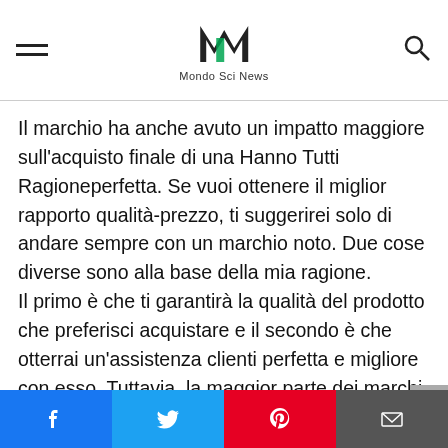Mondo Sci News
Il marchio ha anche avuto un impatto maggiore sull'acquisto finale di una Hanno Tutti Ragioneperfetta. Se vuoi ottenere il miglior rapporto qualità-prezzo, ti suggerirei solo di andare sempre con un marchio noto. Due cose diverse sono alla base della mia ragione.
Il primo è che ti garantirà la qualità del prodotto che preferisci acquistare e il secondo è che otterrai un'assistenza clienti perfetta e migliore con esso. Tuttavia, la maggior parte dei marchi leader offre prodotti della migliore qualità, ma ci sono alcune possibilità che tu possa affrontare alcuni problemi o che il tuo Hanno Tutti Ragione ha incontrato un
Facebook Twitter Pinterest Email